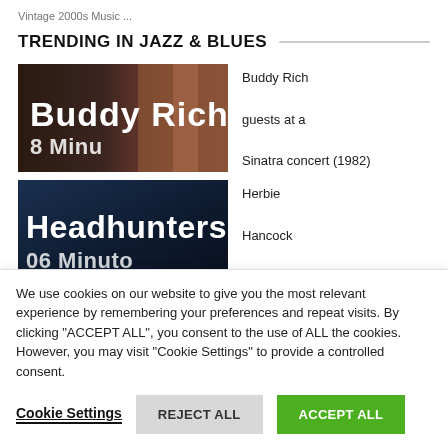Vintage 2000s Music ...
TRENDING IN JAZZ & BLUES
[Figure (screenshot): Thumbnail image with bold white text 'Buddy Rich' on a dark background with reddish tones]
Buddy Rich guests at a Sinatra concert (1982)
[Figure (screenshot): Thumbnail image with bold white text 'Headhunters' on a dark blue background]
Herbie Hancock
We use cookies on our website to give you the most relevant experience by remembering your preferences and repeat visits. By clicking "ACCEPT ALL", you consent to the use of ALL the cookies. However, you may visit "Cookie Settings" to provide a controlled consent.
Cookie Settings | REJECT ALL | ACCEPT ALL